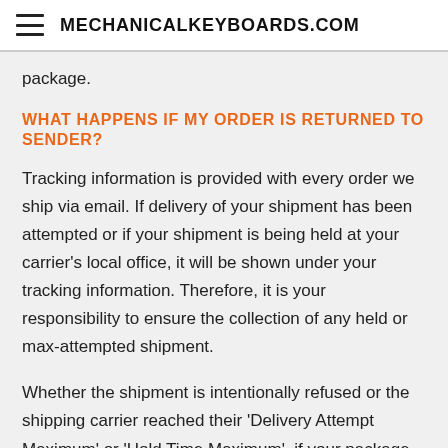MECHANICALKEYBOARDS.COM
package.
WHAT HAPPENS IF MY ORDER IS RETURNED TO SENDER?
Tracking information is provided with every order we ship via email. If delivery of your shipment has been attempted or if your shipment is being held at your carrier's local office, it will be shown under your tracking information. Therefore, it is your responsibility to ensure the collection of any held or max-attempted shipment.
Whether the shipment is intentionally refused or the shipping carrier reached their 'Delivery Attempt Maximum' or 'Hold Time Maximum', if your package is returned to Mechanical Keyboards Inc by the shipping carrier, your order will be restocked and refunded less the cost of shipping plus any RTS fees the carrier charges us. We will not ship it again for free. If you would like us